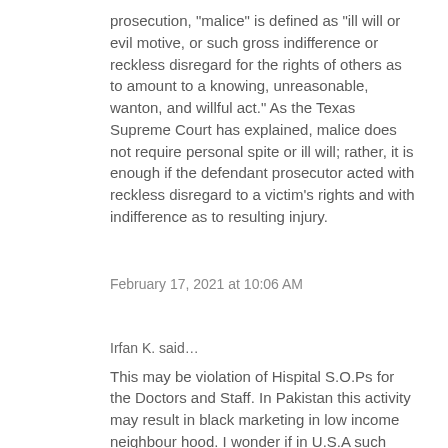prosecution, "malice" is defined as "ill will or evil motive, or such gross indifference or reckless disregard for the rights of others as to amount to a knowing, unreasonable, wanton, and willful act." As the Texas Supreme Court has explained, malice does not require personal spite or ill will; rather, it is enough if the defendant prosecutor acted with reckless disregard to a victim's rights and with indifference as to resulting injury.
February 17, 2021 at 10:06 AM
Irfan K. said…
This may be violation of Hispital S.O.Ps for the Doctors and Staff. In Pakistan this activity may result in black marketing in low income neighbour hood. I wonder if in U.S.A such practice is a crime or criminal negligence.
February 17, 2021 at 10:17 AM